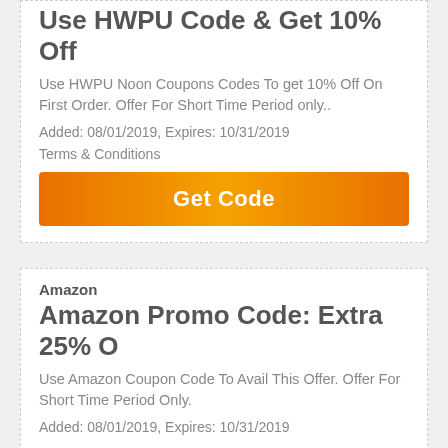Use HWPU Code & Get 10% Off
Use HWPU Noon Coupons Codes To get 10% Off On First Order. Offer For Short Time Period only..
Added: 08/01/2019, Expires: 10/31/2019
Terms & Conditions
Get Code
Amazon
Amazon Promo Code: Extra 25% O
Use Amazon Coupon Code To Avail This Offer. Offer For Short Time Period Only.
Added: 08/01/2019, Expires: 10/31/2019